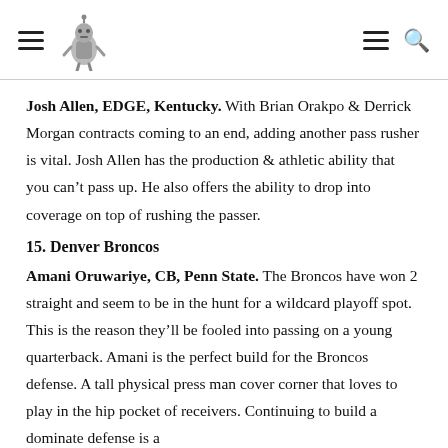[navigation header with logo]
Josh Allen, EDGE, Kentucky. With Brian Orakpo & Derrick Morgan contracts coming to an end, adding another pass rusher is vital. Josh Allen has the production & athletic ability that you can't pass up. He also offers the ability to drop into coverage on top of rushing the passer.
15. Denver Broncos
Amani Oruwariye, CB, Penn State. The Broncos have won 2 straight and seem to be in the hunt for a wildcard playoff spot. This is the reason they'll be fooled into passing on a young quarterback. Amani is the perfect build for the Broncos defense. A tall physical press man cover corner that loves to play in the hip pocket of receivers. Continuing to build a dominate defense is a